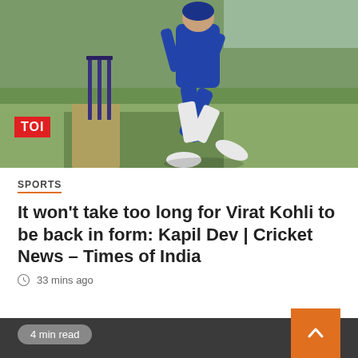[Figure (photo): Cricket player wearing blue India kit running near stumps on a cricket field. TOI logo badge visible in lower left of photo.]
SPORTS
It won't take too long for Virat Kohli to be back in form: Kapil Dev | Cricket News – Times of India
33 mins ago
4 min read